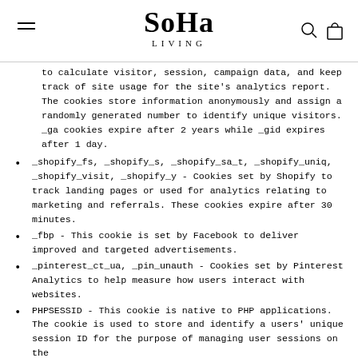SoHa LIVING
to calculate visitor, session, campaign data, and keep track of site usage for the site's analytics report. The cookies store information anonymously and assign a randomly generated number to identify unique visitors. _ga cookies expire after 2 years while _gid expires after 1 day.
_shopify_fs, _shopify_s, _shopify_sa_t, _shopify_uniq, _shopify_visit, _shopify_y - Cookies set by Shopify to track landing pages or used for analytics relating to marketing and referrals. These cookies expire after 30 minutes.
_fbp - This cookie is set by Facebook to deliver improved and targeted advertisements.
_pinterest_ct_ua, _pin_unauth - Cookies set by Pinterest Analytics to help measure how users interact with websites.
PHPSESSID - This cookie is native to PHP applications. The cookie is used to store and identify a users' unique session ID for the purpose of managing user sessions on the